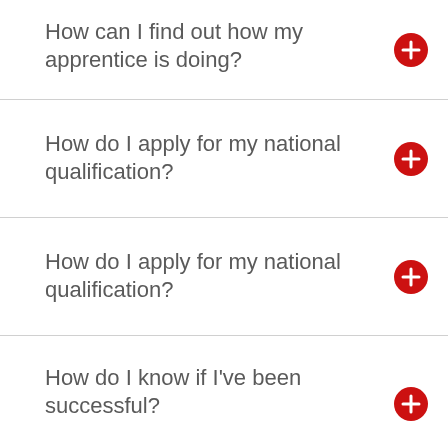How can I find out how my apprentice is doing?
How do I apply for my national qualification?
How do I apply for my national qualification?
How do I know if I've been successful?